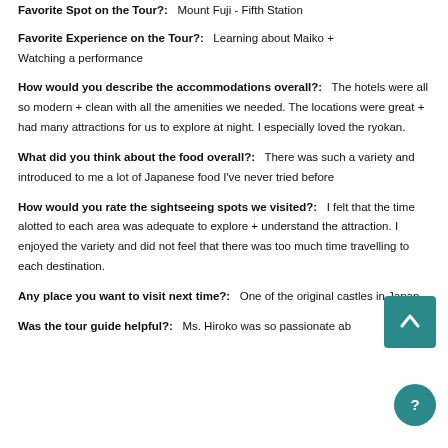Favorite Spot on the Tour?: Mount Fuji - Fifth Station
Favorite Experience on the Tour?: Learning about Maiko + Watching a performance
How would you describe the accommodations overall?: The hotels were all so modern + clean with all the amenities we needed. The locations were great + had many attractions for us to explore at night. I especially loved the ryokan.
What did you think about the food overall?: There was such a variety and introduced to me a lot of Japanese food I've never tried before
How would you rate the sightseeing spots we visited?: I felt that the time alotted to each area was adequate to explore + understand the attraction. I enjoyed the variety and did not feel that there was too much time travelling to each destination.
Any place you want to visit next time?: One of the original castles in Japan
Was the tour guide helpful?: Ms. Hiroko was so passionate ab...